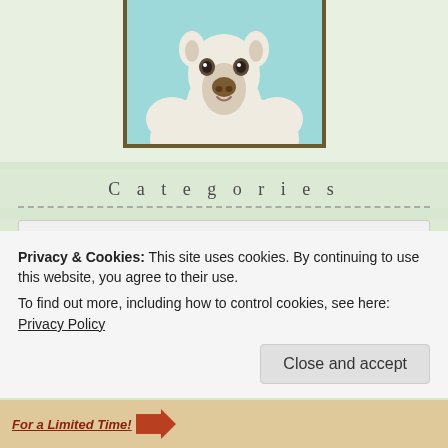[Figure (illustration): Cute cartoon llama/alpaca illustration with fluffy white body and small brown nose, set against a light teal background, framed with a brown border]
Categories
Select Category
Looking for a graphic designer?
Privacy & Cookies: This site uses cookies. By continuing to use this website, you agree to their use.
To find out more, including how to control cookies, see here: Privacy Policy
Close and accept
[Figure (illustration): Partial view of a promotional banner at the bottom of the page with text 'For a Limited Time!']